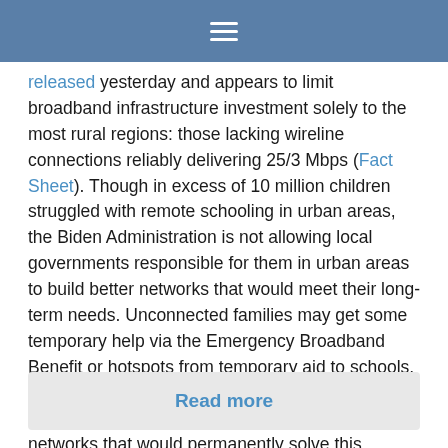Navigation bar with hamburger menu
released yesterday and appears to limit broadband infrastructure investment solely to the most rural regions: those lacking wireline connections reliably delivering 25/3 Mbps (Fact Sheet). Though in excess of 10 million children struggled with remote schooling in urban areas, the Biden Administration is not allowing local governments responsible for them in urban areas to build better networks that would meet their long-term needs. Unconnected families may get some temporary help via the Emergency Broadband Benefit or hotspots from temporary aid to schools, but communities cannot use the funds intended for broadband infrastructure to actually build networks that would permanently solve this...
Read more